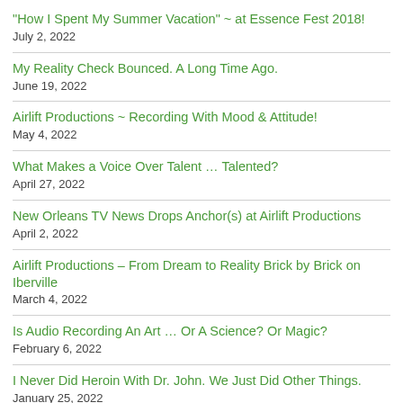“How I Spent My Summer Vacation” ~ at Essence Fest 2018!
July 2, 2022
My Reality Check Bounced. A Long Time Ago.
June 19, 2022
Airlift Productions ~ Recording With Mood & Attitude!
May 4, 2022
What Makes a Voice Over Talent ... Talented?
April 27, 2022
New Orleans TV News Drops Anchor(s) at Airlift Productions
April 2, 2022
Airlift Productions – From Dream to Reality Brick by Brick on Iberville
March 4, 2022
Is Audio Recording An Art ... Or A Science? Or Magic?
February 6, 2022
I Never Did Heroin With Dr. John. We Just Did Other Things.
January 25, 2022